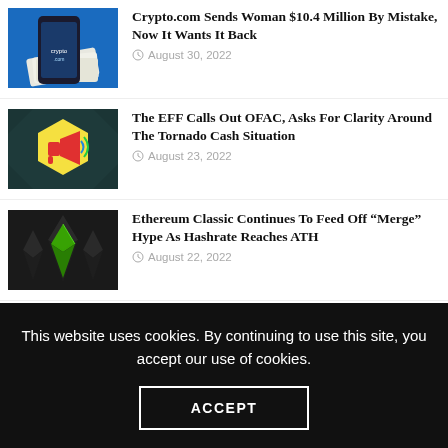Crypto.com Sends Woman $10.4 Million By Mistake, Now It Wants It Back — August 30, 2022
The EFF Calls Out OFAC, Asks For Clarity Around The Tornado Cash Situation — August 23, 2022
Ethereum Classic Continues To Feed Off "Merge" Hype As Hashrate Reaches ATH — August 22, 2022
UNCTAD Wants To Curb Crypto Adoption In Developing Countries. Of Course They Do
This website uses cookies. By continuing to use this site, you accept our use of cookies.
ACCEPT